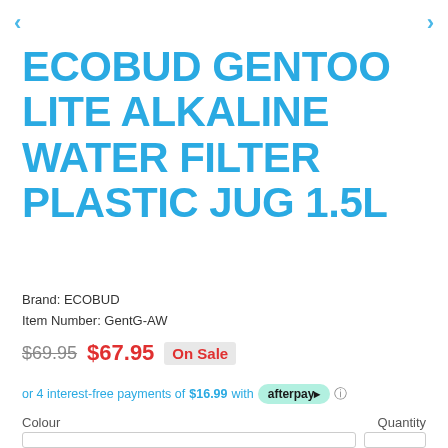ECOBUD GENTOO LITE ALKALINE WATER FILTER PLASTIC JUG 1.5L
Brand: ECOBUD
Item Number: GentG-AW
$69.95  $67.95  On Sale
or 4 interest-free payments of $16.99 with afterpay
Colour	Quantity